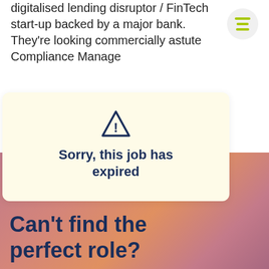digitalised lending disruptor / FinTech start-up backed by a major bank. They're looking commercially astute Compliance Manage
[Figure (other): Hamburger menu icon — three horizontal lime-green lines inside a light gray circle]
Sorry, this job has expired
Can't find the perfect role?